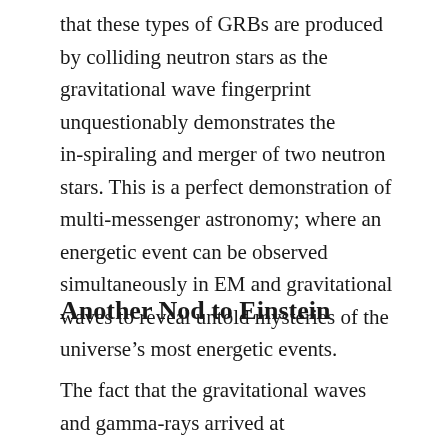that these types of GRBs are produced by colliding neutron stars as the gravitational wave fingerprint unquestionably demonstrates the in-spiraling and merger of two neutron stars. This is a perfect demonstration of multi-messenger astronomy; where an energetic event can be observed simultaneously in EM and gravitational waves to reveal untold mysteries of the universe's most energetic events.
Another Nod to Einstein
The fact that the gravitational waves and gamma-rays arrived at approximately the